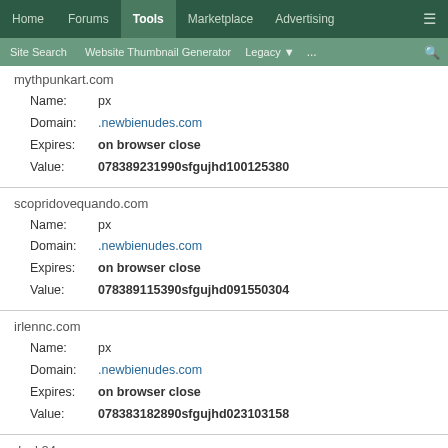Home | Forums | Tools | Marketplace | Advertising
Site Search | Website Thumbnail Generator | Legacy | ...
mythpunkart.com
Name: px
Domain: .newbienudes.com
Expires: on browser close
Value: 078389231990sfgujhd100125380
scopridovequando.com
Name: px
Domain: .newbienudes.com
Expires: on browser close
Value: 078389115390sfgujhd091550304
irlennc.com
Name: px
Domain: .newbienudes.com
Expires: on browser close
Value: 078383182890sfgujhd023103158
rlock24.com
Name: px
Domain: .newbienudes.com
Expires: on browser close